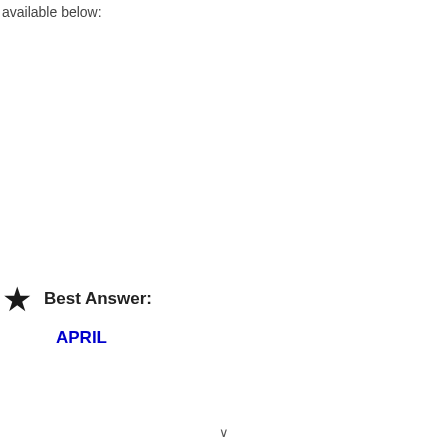available below:
Best Answer:
APRIL